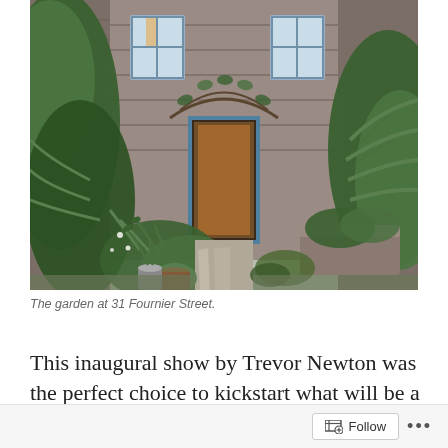[Figure (photo): A lush garden pathway leading to a brick building with blue-framed door and windows at 31 Fournier Street. Dense ferns and green plants line both sides of a stone path. A large potted plant sits in the foreground. The building facade is covered in climbing plants.]
The garden at 31 Fournier Street.
This inaugural show by Trevor Newton was the perfect choice to kickstart what will be a series of exhibitions, book launches, and performances over coming months. Many of
Follow ...